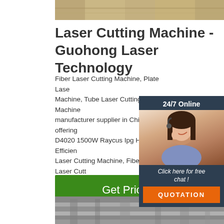[Figure (photo): Top photo showing industrial laser cutting machine equipment]
Laser Cutting Machine - Guohong Laser Technology
Fiber Laser Cutting Machine, Plate Laser Machine, Tube Laser Cutting Machine manufacturer supplier in China, offering D4020 1500W Raycus Ipg High Efficiency Laser Cutting Machine, Fiber Laser Cutting Machine Small 1500W Raycus High Efficiency Fiber Laser Cutting Machine, CNC Steel Plate Fiber Laser Cutting Machine 6020 Sheet and Tube and so on.
[Figure (photo): Chat widget with 24/7 Online support agent photo, Click here for free chat text, and QUOTATION button]
[Figure (other): Get Price green button]
[Figure (photo): Bottom photo showing industrial building or facility exterior]